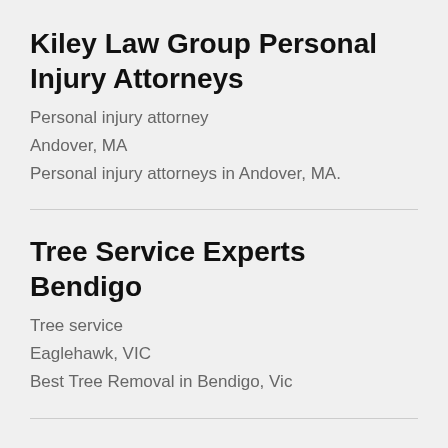Kiley Law Group Personal Injury Attorneys
Personal injury attorney
Andover, MA
Personal injury attorneys in Andover, MA.
Tree Service Experts Bendigo
Tree service
Eaglehawk, VIC
Best Tree Removal in Bendigo, Vic
360 Towing Solutions Sugar Land